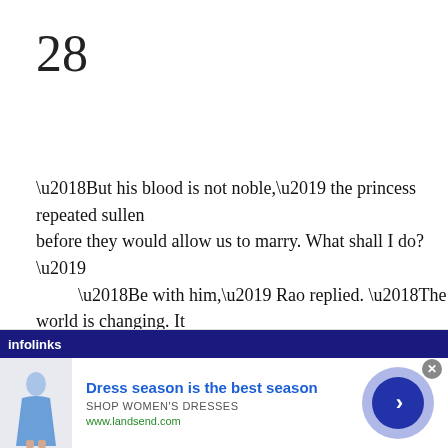28
'But his blood is not noble,' the princess repeated sullenly. before they would allow us to marry. What shall I do?'
    'Be with him,' Rao replied. 'The world is changing. It yours. You know he would die for you.'
    'I would die for him.'
    'Then your destiny is sealed,' Rao said. 'You could do marriages they proposed to you were never to be. Harry you do not marry him.'
[Figure (screenshot): Advertisement banner: infolinks bar with blue background, showing a dress advertisement for landsend.com with the headline 'Dress season is the best season' and a circular arrow button]